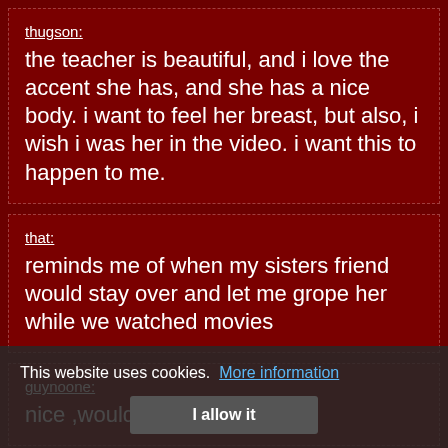thugson:
the teacher is beautiful, and i love the accent she has, and she has a nice body. i want to feel her breast, but also, i wish i was her in the video. i want this to happen to me.
that:
reminds me of when my sisters friend would stay over and let me grope her while we watched movies
guynoone:
nice ,would love to see more
This website uses cookies.  More information
I allow it